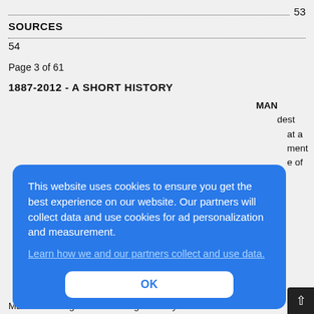....................................................................................................................  53
SOURCES
...........................................................................................................................
54
Page 3 of 61
1887-2012 - A SHORT HISTORY
This website uses cookies to ensure you get the best experience on our website. Our partners will collect data and use cookies for ad personalization and measurement. Learn how we and our partners collect and use data.
Manitoba’s long and storied legal history have